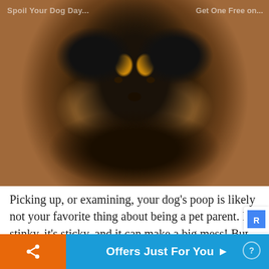[Figure (photo): A German Shepherd dog walking toward the camera outdoors on sandy/gravelly ground. The dog has classic black and tan coloring with a thick coat. Watermark text visible top-left reading 'Spoil Your Dog Day...' and top-right reading 'Get One Free on...']
Picking up, or examining, your dog’s poop is likely not your favorite thing about being a pet parent. It’s stinky, it’s sticky, and it can make a big mess! But did you know that dog poop is actually a very good window into your...
Offers Just For You ▶